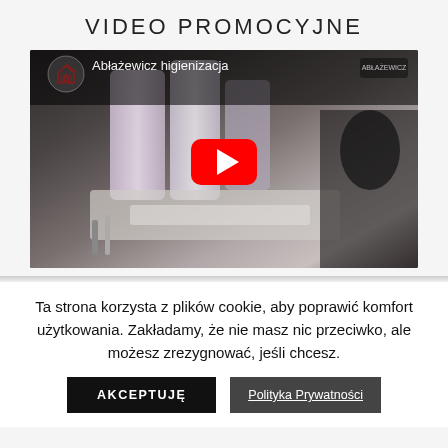VIDEO PROMOCYJNE
[Figure (screenshot): YouTube video thumbnail showing 'Abłażewicz higienizacja' with a red play button overlay on a medical/dental equipment background]
Ta strona korzysta z plików cookie, aby poprawić komfort użytkowania. Zakładamy, że nie masz nic przeciwko, ale możesz zrezygnować, jeśli chcesz.
AKCEPTUJĘ
Polityka Prywatności